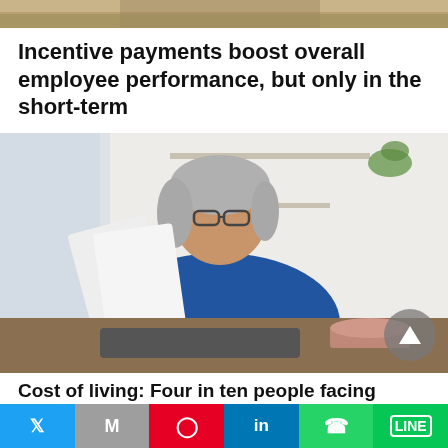[Figure (photo): Top portion of a partially visible image, showing a keyboard and hands on a desk.]
Incentive payments boost overall employee performance, but only in the short-term
[Figure (photo): Middle-aged woman with grey hair and glasses wearing a blue jacket, sitting at a desk, holding papers and typing on a keyboard. A pink mug is on the desk. Bright kitchen background with white brick tiles and greenery.]
Cost of living: Four in ten people facing
Twitter | Mail | Pinterest | LinkedIn | WhatsApp | Line